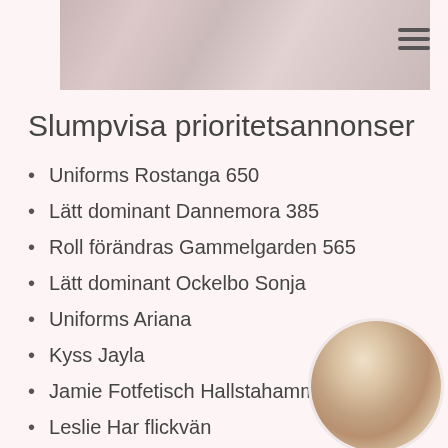[Figure (photo): Partial photo at top of page showing skin/body]
Slumpvisa prioritetsannonser
Uniforms Rostanga 650
Lätt dominant Dannemora 385
Roll förändras Gammelgarden 565
Lätt dominant Ockelbo Sonja
Uniforms Ariana
Kyss Jayla
Jamie Fotfetisch Hallstahammar
Leslie Har flickvän
Duscha tillsammans Kyra
Jayla Bondage (BDSM)
Strap-on Nevaeh
Fotfetisch Avril
[Figure (photo): Circular profile photo of a blonde woman in dark lingerie]